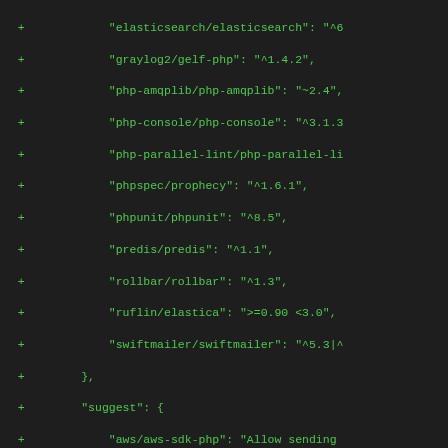Code diff showing composer.json additions including elasticsearch, graylog2, php-amqplib, php-console, php-parallel-lint, phpspec/prophecy, phpunit, predis, rollbar, ruflin/elastica, swiftmailer, suggest section with aws-sdk-php, doctrine/couchdb, elasticsearch, ext-amqp, ext-mbstring, ext-mongodb, graylog2/gelf-php, mongodb, php-amqplib, php-console, rollbar, ruflin/elastica, type library, extra with branch-alias dev-master 2.x-dev